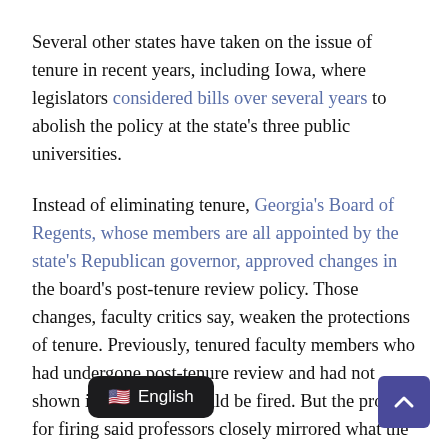Several other states have taken on the issue of tenure in recent years, including Iowa, where legislators considered bills over several years to abolish the policy at the state's three public universities.
Instead of eliminating tenure, Georgia's Board of Regents, whose members are all appointed by the state's Republican governor, approved changes in the board's post-tenure review policy. Those changes, faculty critics say, weaken the protections of tenure. Previously, tenured faculty members who had undergone post-tenure review and had not shown improvement could be fired. But the process for firing said professors closely mirrored what the AAUP recommends.
Now faculty members can be terminated "in